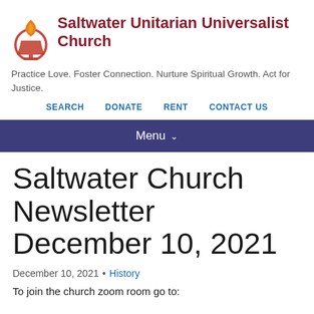[Figure (logo): Unitarian Universalist chalice flame logo in red/orange]
Saltwater Unitarian Universalist Church
Practice Love. Foster Connection. Nurture Spiritual Growth. Act for Justice.
SEARCH   DONATE   RENT   CONTACT US
Menu
Saltwater Church Newsletter December 10, 2021
December 10, 2021 • History
To join the church zoom room go to: